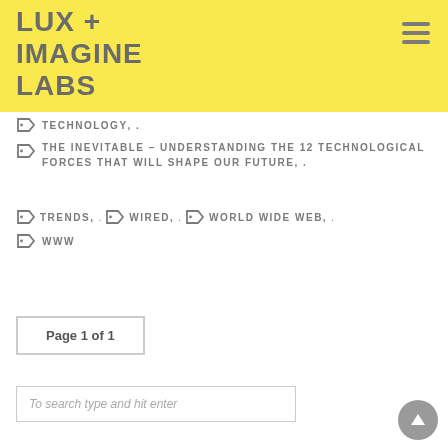LUX + IMAGINE LABS
TECHNOLOGY, .
THE INEVITABLE – UNDERSTANDING THE 12 TECHNOLOGICAL FORCES THAT WILL SHAPE OUR FUTURE, .
TRENDS, . WIRED, . WORLD WIDE WEB, . . WWW
Page 1 of 1
To search type and hit enter